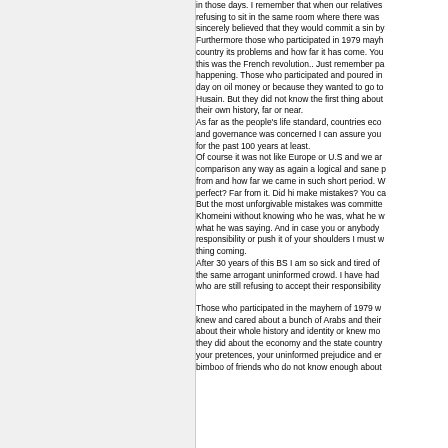in those days. I remember that when our relatives refusing to sit in the same room where there was sincerely believed that they would commit a sin by Furthermore those who participated in 1979 mayh country its problems and how far it has come. You this was the French revolution.. Just remember pa happening. Those who participated and poured in day on oil money or because they wanted to go to Husain. But they did not know the first thing about their own history, far or near. As far as the people's life standard, countries eco and governance was concerned I can assure you for the past 100 years at least. Of course it was not like Europe or U.S and we ar comparison any way as again a logical and sane p from and how far we came in such short period. W perfect? Far from it. Did hi make mistakes? You ca But the most unforgivable mistakes was committe Khomeini without knowing who he was, what he w what he was saying. And in case you or anybody responsibility or push it of your shoulders I must w thing coming. After 30 years of this BS I am so sick and tired of the same arrogant uninformed crowd. I have had who are still refusing to accept their responsibility Those who participated in the mayhem of 1979 w knew and cared about a bunch of Arabs and their about their whole history and identity or knew mo they did about the economy and the state country your pretences, your uninformed prejudice and er bimboo of friends who do not know enough about